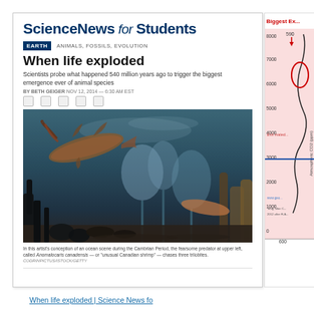[Figure (screenshot): Screenshot of Science News for Students article page titled 'When life exploded', showing the website header, article title, subtitle, byline, social icons, and an underwater ocean scene illustration from the Cambrian Period featuring Anomalocaris canadensis.]
In this artist's conception of an ocean scene during the Cambrian Period, the fearsome predator at upper left, called Anomalocaris canadensis — or 'unusual Canadian shrimp' — chases three trilobites.
[Figure (continuous-plot): Partial view of a chart showing Atmospheric CO2 (ppm) over time, with y-axis values from 0 to 8000+, labeled 'Biggest Ex...' in red at top, with a pink shaded region and annotations including '590', 'Estimated', and a blue horizontal line near 3000 ppm. X-axis shows value 600.]
When life exploded | Science News fo